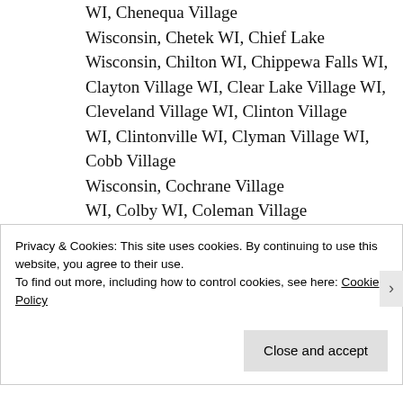WI, Chenequa Village
Wisconsin, Chetek WI, Chief Lake
Wisconsin, Chilton WI, Chippewa Falls WI, Clayton Village WI, Clear Lake Village WI, Cleveland Village WI, Clinton Village
WI, Clintonville WI, Clyman Village WI, Cobb Village
Wisconsin, Cochrane Village
WI, Colby WI, Coleman Village
Privacy & Cookies: This site uses cookies. By continuing to use this website, you agree to their use.
To find out more, including how to control cookies, see here: Cookie Policy